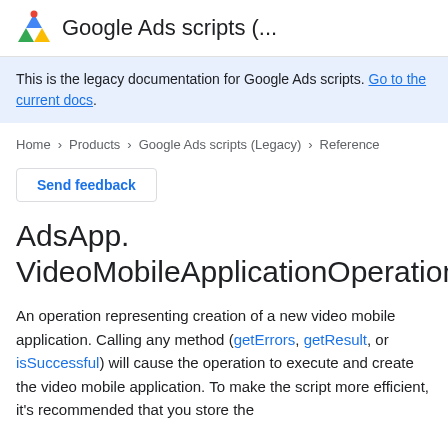Google Ads scripts (...
This is the legacy documentation for Google Ads scripts. Go to the current docs.
Home > Products > Google Ads scripts (Legacy) > Reference
Send feedback
AdsApp.VideoMobileApplicationOperation
An operation representing creation of a new video mobile application. Calling any method (getErrors, getResult, or isSuccessful) will cause the operation to execute and create the video mobile application. To make the script more efficient, it's recommended that you store the